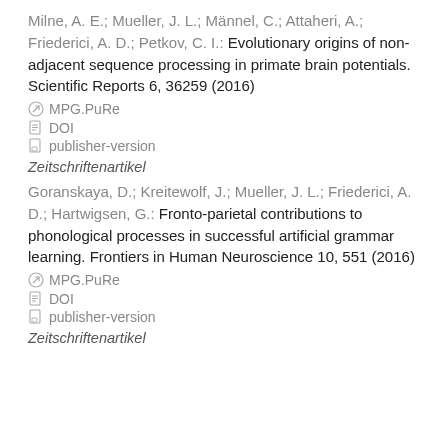Milne, A. E.; Mueller, J. L.; Männel, C.; Attaheri, A.; Friederici, A. D.; Petkov, C. I.: Evolutionary origins of non-adjacent sequence processing in primate brain potentials. Scientific Reports 6, 36259 (2016)
MPG.PuRe
DOI
publisher-version
Zeitschriftenartikel
Goranskaya, D.; Kreitewolf, J.; Mueller, J. L.; Friederici, A. D.; Hartwigsen, G.: Fronto-parietal contributions to phonological processes in successful artificial grammar learning. Frontiers in Human Neuroscience 10, 551 (2016)
MPG.PuRe
DOI
publisher-version
Zeitschriftenartikel